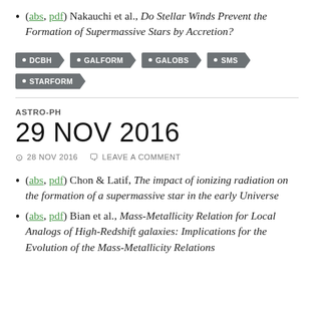(abs, pdf) Nakauchi et al., Do Stellar Winds Prevent the Formation of Supermassive Stars by Accretion?
DCBH · GALFORM · GALOBS · SMS · STARFORM
ASTRO-PH
29 NOV 2016
28 NOV 2016   LEAVE A COMMENT
(abs, pdf) Chon & Latif, The impact of ionizing radiation on the formation of a supermassive star in the early Universe
(abs, pdf) Bian et al., Mass-Metallicity Relation for Local Analogs of High-Redshift galaxies: Implications for the Evolution of the Mass-Metallicity Relations